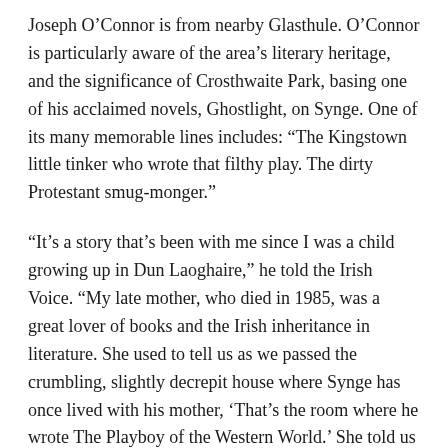Joseph O'Connor is from nearby Glasthule. O'Connor is particularly aware of the area's literary heritage, and the significance of Crosthwaite Park, basing one of his acclaimed novels, Ghostlight, on Synge. One of its many memorable lines includes: “The Kingstown little tinker who wrote that filthy play. The dirty Protestant smug-monger.”
“It’s a story that’s been with me since I was a child growing up in Dun Laoghaire,” he told the Irish Voice. “My late mother, who died in 1985, was a great lover of books and the Irish inheritance in literature. She used to tell us as we passed the crumbling, slightly decrepit house where Synge has once lived with his mother, ‘That’s the room where he wrote The Playboy of the Western World.’ She told us Synge knew these streets that we were